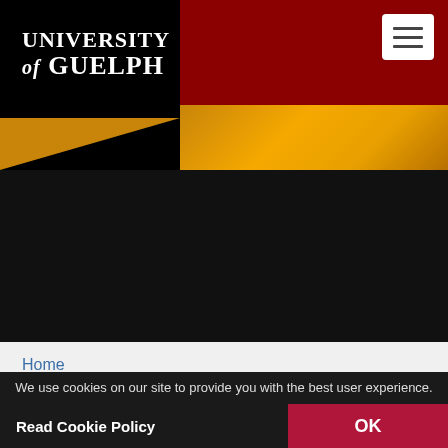[Figure (logo): University of Guelph logo with dark red and black header background with gold accent bar]
School of Computer Science
Home
Cyber Grads Awarded
We use cookies on our site to provide you with the best user experience.
Read Cookie Policy
OK